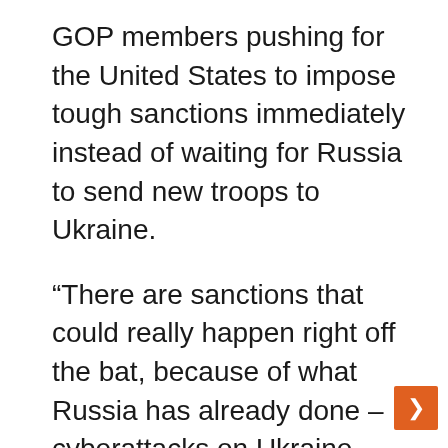GOP members pushing for the United States to impose tough sanctions immediately instead of waiting for Russia to send new troops to Ukraine.
“There are sanctions that could really happen right off the bat, because of what Russia has already done – cyberattacks on Ukraine, false flag operations, efforts to undermine the Ukrainian government internally,” Menendez said on CNN.
In the event of an invasion, the New Jersey Democrat said, Russia would face “the mother of all sanctions,” including actions against Russian banks that could severely undermine the Russian economy and increased lethal aid to the